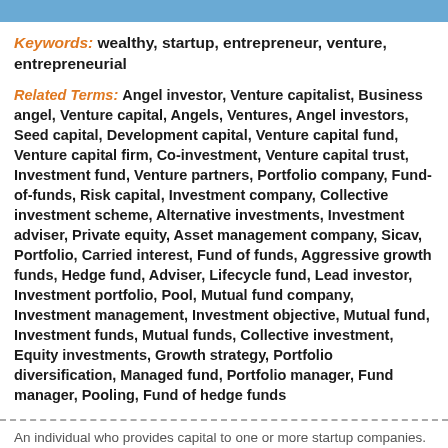Keywords: wealthy, startup, entrepreneur, venture, entrepreneurial
Related Terms: Angel investor, Venture capitalist, Business angel, Venture capital, Angels, Ventures, Angel investors, Seed capital, Development capital, Venture capital fund, Venture capital firm, Co-investment, Venture capital trust, Investment fund, Venture partners, Portfolio company, Fund-of-funds, Risk capital, Investment company, Collective investment scheme, Alternative investments, Investment adviser, Private equity, Asset management company, Sicav, Portfolio, Carried interest, Fund of funds, Aggressive growth funds, Hedge fund, Adviser, Lifecycle fund, Lead investor, Investment portfolio, Pool, Mutual fund company, Investment management, Investment objective, Mutual fund, Investment funds, Mutual funds, Collective investment, Equity investments, Growth strategy, Portfolio diversification, Managed fund, Portfolio manager, Fund manager, Pooling, Fund of hedge funds
An individual who provides capital to one or more startup companies. The individual